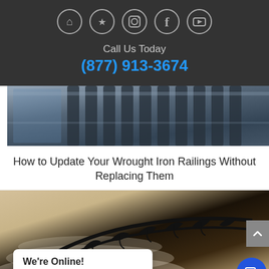[Figure (other): Dark header bar with five social media icon circles (Houzz, Yelp, Instagram, Facebook, YouTube) in gray outlined circles on dark background]
Call Us Today
(877) 913-3674
[Figure (photo): Close-up photo of wrought iron railing hardware/balusters in dark metallic tones]
How to Update Your Wrought Iron Railings Without Replacing Them
[Figure (photo): Photo of an ornate black wrought iron staircase railing with floral scroll design on white curved stairs]
We're Online!
How may I help you today?